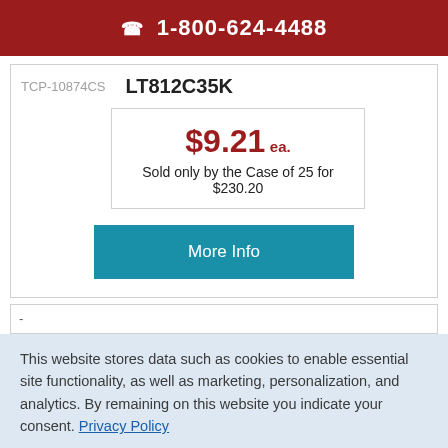☎ 1-800-624-4488
TCP-10874CS   LT812C35K
$9.21 ea.
Sold only by the Case of 25 for $230.20
More Info
This website stores data such as cookies to enable essential site functionality, as well as marketing, personalization, and analytics. By remaining on this website you indicate your consent. Privacy Policy